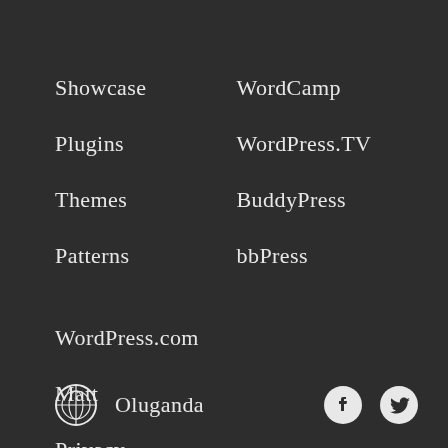Showcase
WordCamp
Plugins
WordPress.TV
Themes
BuddyPress
Patterns
bbPress
WordPress.com
Matt
Privacy
Public Code
Oluganda